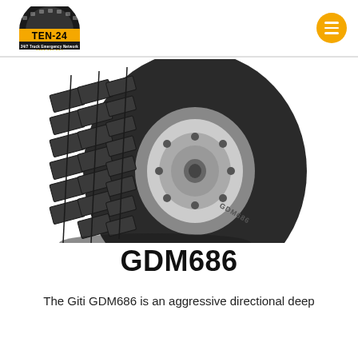TEN-24 24/7 Truck Emergency Network 1800 001 024
[Figure (photo): A Giti GDM686 truck tire showing aggressive directional tread pattern and chrome wheel, black and white photo]
GDM686
The Giti GDM686 is an aggressive directional deep